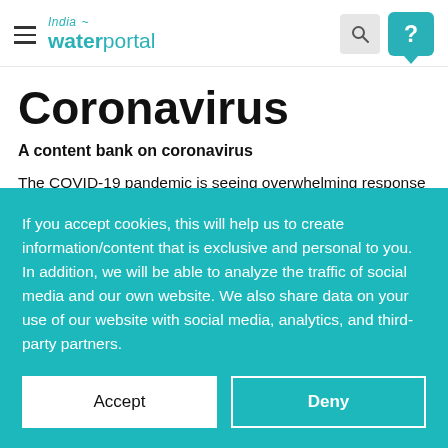India waterportal — navigation header with hamburger menu, search button, and help button
Coronavirus
A content bank on coronavirus
The COVID-19 pandemic is seeing overwhelming response from…
If you accept cookies, this will help us to create information/content that is exclusive and personal to you. In addition, we will be able to analyze the traffic of social media and our own website. We also share data on your use of our website with social media, analytics, and third-party partners.
Accept | Deny